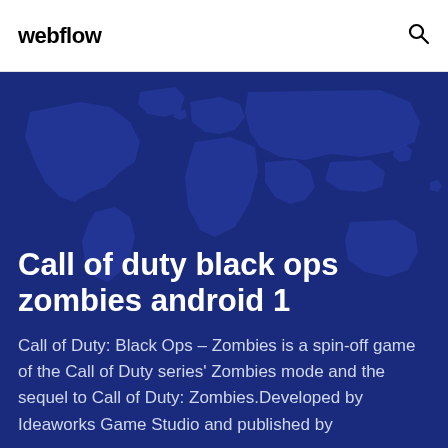webflow
Call of duty black ops zombies android 1
Call of Duty: Black Ops – Zombies is a spin-off game of the Call of Duty series' Zombies mode and the sequel to Call of Duty: Zombies.Developed by Ideaworks Game Studio and published by